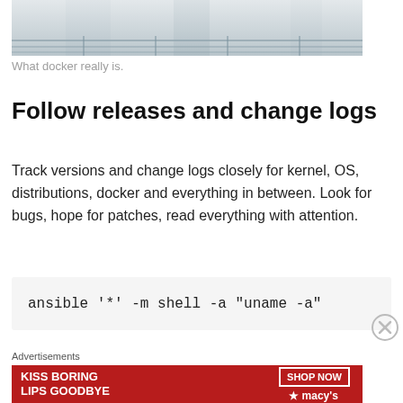[Figure (photo): Partial photo showing people on a wet surface, possibly a dock or walkway in the rain]
What docker really is.
Follow releases and change logs
Track versions and change logs closely for kernel, OS, distributions, docker and everything in between. Look for bugs, hope for patches, read everything with attention.
Advertisements
[Figure (photo): Advertisement banner: KISS BORING LIPS GOODBYE with SHOP NOW and Macy's branding on red background]